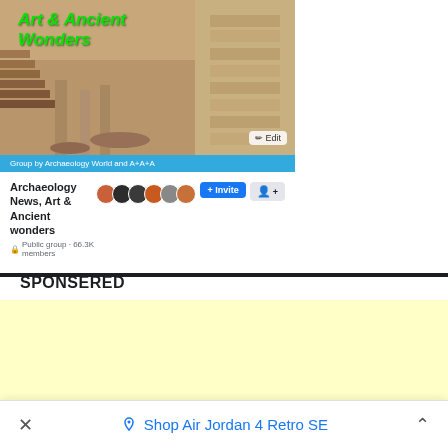[Figure (screenshot): Facebook group banner image showing ancient ruins with green bold italic text overlay reading 'Art & Ancient Wonders', edit button in bottom right, blue bar with group byline, group info row with name, member count, avatars, invite and share buttons]
Archaeology News, Art & Ancient wonders
Public group · 66.3K members
SPONSERED
[Figure (other): Yellow/light cream colored advertisement placeholder area]
Shop Air Jordan 4 Retro SE